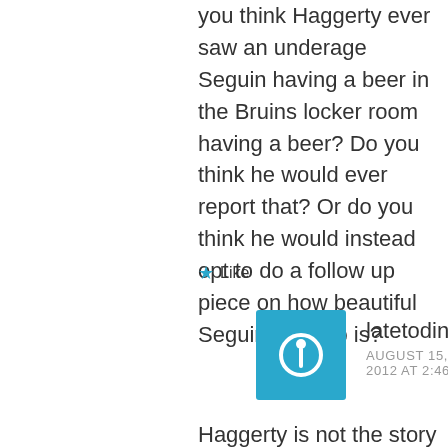you think Haggerty ever saw an underage Seguin having a beer in the Bruins locker room having a beer? Do you think he would ever report that? Or do you think he would instead opt to do a follow up piece on how beautiful Seguin's condo is?
★ Like
latetodinner
AUGUST 15, 2012 AT 2:46 PM
Haggerty is not the story in